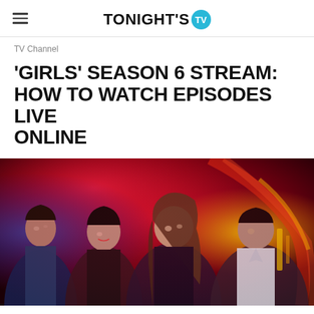TONIGHT'S TV
TV Channel
'GIRLS' SEASON 6 STREAM: HOW TO WATCH EPISODES LIVE ONLINE
[Figure (photo): Four young women standing together in a dimly lit venue with red/blue lighting, appearing to be from the HBO show 'Girls']